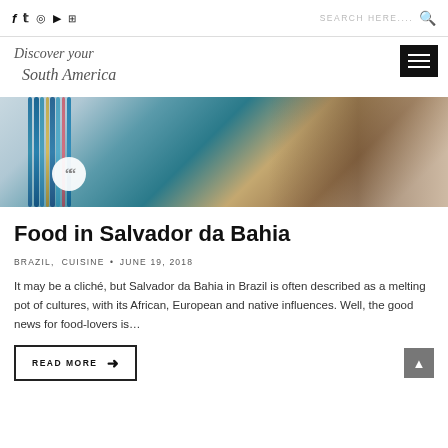f  tw  (instagram)  (youtube)  (flickr)    SEARCH HERE....  (search icon)
[Figure (logo): Discover your South America cursive script logo with hamburger menu button on right]
[Figure (photo): Photo of colorful blue beaded jewelry/necklaces with quote icon circle overlay, Salvador da Bahia Brazil context]
Food in Salvador da Bahia
BRAZIL,  CUISINE • JUNE 19, 2018
It may be a cliché, but Salvador da Bahia in Brazil is often described as a melting pot of cultures, with its African, European and native influences. Well, the good news for food-lovers is...
READ MORE →